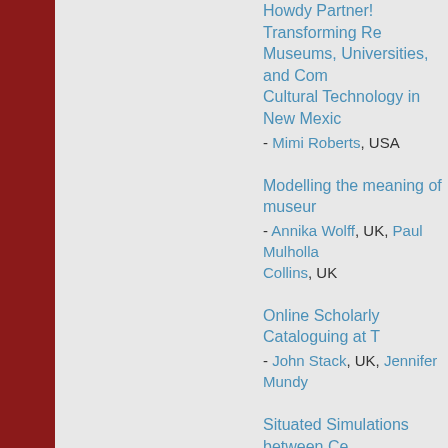Howdy Partner! Transforming Relationships between Museums, Universities, and Communities through Cultural Technology in New Mexico
- Mimi Roberts, USA
Modelling the meaning of museum...
- Annika Wolff, UK, Paul Mulholla... Collins, UK
Online Scholarly Cataloguing at T...
- John Stack, UK, Jennifer Mundy...
Situated Simulations between Ce... in Museum Mediation
- Gunnar Liestøl, Norway
The train is our friend
- Maria Teixeira, Portugal, ...